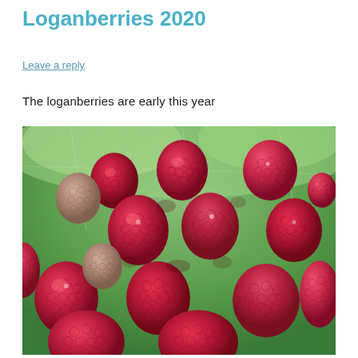Loganberries 2020
Leave a reply
The loganberries are early this year
[Figure (photo): Close-up photograph of a large pile of red loganberries, densely packed, with a green background visible at the top. The berries are deep red/crimson with a bumpy drupelets texture.]